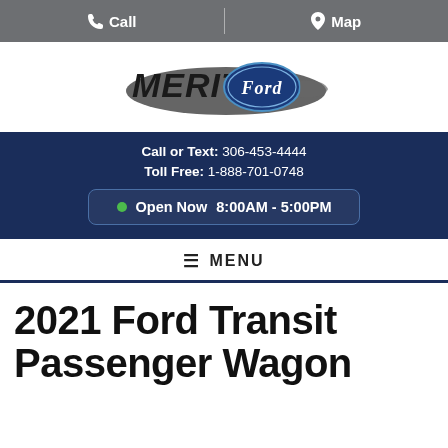Call   Map
[Figure (logo): Merit Ford dealership logo — stylized text 'MERIT' with Ford oval badge and swoosh graphic]
Call or Text: 306-453-4444
Toll Free: 1-888-701-0748
Open Now 8:00AM - 5:00PM
≡ MENU
2021 Ford Transit Passenger Wagon